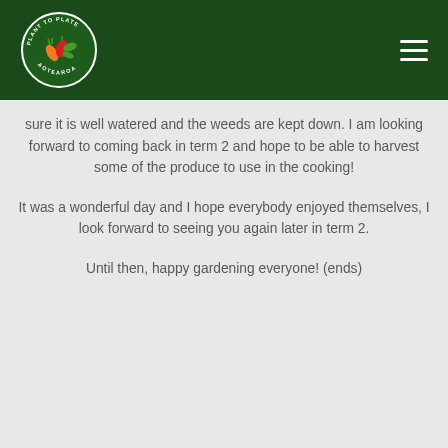[Figure (logo): Plant to Plate Aotearoa circular logo with vegetables and text on dark green header background]
sure it is well watered and the weeds are kept down. I am looking forward to coming back in term 2 and hope to be able to harvest some of the produce to use in the cooking!
It was a wonderful day and I hope everybody enjoyed themselves, I look forward to seeing you again later in term 2.
Until then, happy gardening everyone! (ends)